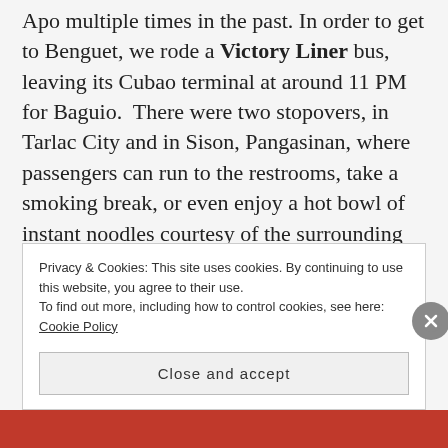Apo multiple times in the past. In order to get to Benguet, we rode a Victory Liner bus, leaving its Cubao terminal at around 11 PM for Baguio.  There were two stopovers, in Tarlac City and in Sison, Pangasinan, where passengers can run to the restrooms, take a smoking break, or even enjoy a hot bowl of instant noodles courtesy of the surrounding overnight shops. After a five-hour road trip, we finally arrived at Baguio at around 4 AM.  A monster jeep was waiting for us at the
Privacy & Cookies: This site uses cookies. By continuing to use this website, you agree to their use.
To find out more, including how to control cookies, see here: Cookie Policy
Close and accept